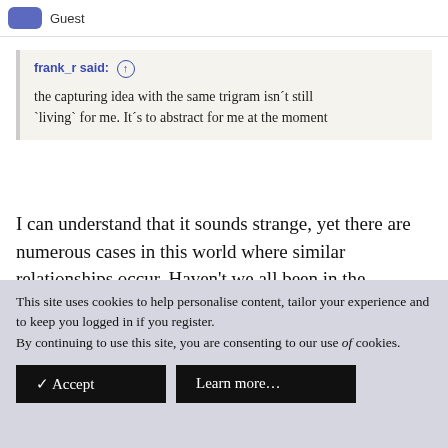Guest
frank_r said: ↑

the capturing idea with the same trigram isn´t still `living` for me. It´s to abstract for me at the moment
I can understand that it sounds strange, yet there are numerous cases in this world where similar relationships occur. Haven't we all been in the situation at school, when you wanted to say something very urgently because you were enthusiastic about it, but every time you started to open your mouth another child was just
This site uses cookies to help personalise content, tailor your experience and to keep you logged in if you register.
By continuing to use this site, you are consenting to our use of cookies.
✓ Accept    Learn more…